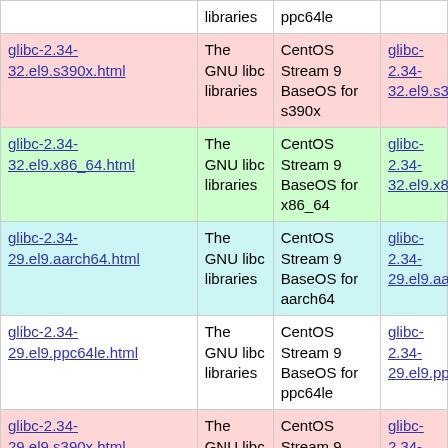|  | libraries | ppc64le |  |
| --- | --- | --- | --- |
| glibc-2.34-32.el9.s390x.html | The GNU libc libraries | CentOS Stream 9 BaseOS for s390x | glibc-2.34-32.el9.s390x.r… |
| glibc-2.34-32.el9.x86_64.html | The GNU libc libraries | CentOS Stream 9 BaseOS for x86_64 | glibc-2.34-32.el9.x86_64.… |
| glibc-2.34-29.el9.aarch64.html | The GNU libc libraries | CentOS Stream 9 BaseOS for aarch64 | glibc-2.34-29.el9.aarch64… |
| glibc-2.34-29.el9.ppc64le.html | The GNU libc libraries | CentOS Stream 9 BaseOS for ppc64le | glibc-2.34-29.el9.ppc64le… |
| glibc-2.34-29.el9.s390x.html | The GNU libc libraries | CentOS Stream 9 BaseOS for s390x | glibc-2.34-29.el9.s390x.r… |
| glibc-2.34-29.el9.x86_64.html | The GNU libc libraries | CentOS Stream 9 BaseOS for … | glibc-2.34-29.el9.x86_64.… |